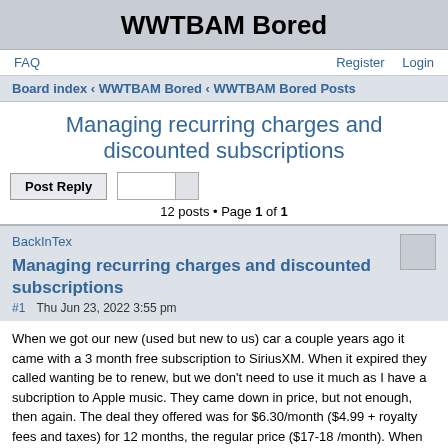WWTBAM Bored
FAQ    Register  Login
Board index ‹ WWTBAM Bored ‹ WWTBAM Bored Posts
Managing recurring charges and discounted subscriptions
12 posts • Page 1 of 1
BackInTex
Managing recurring charges and discounted subscriptions
#1   Thu Jun 23, 2022 3:55 pm
When we got our new (used but new to us) car a couple years ago it came with a 3 month free subscription to SiriusXM. When it expired they called wanting be to renew, but we don't need to use it much as I have a subcription to Apple music. They came down in price, but not enough, then again. The deal they offered was for $6.30/month ($4.99 + royalty fees and taxes) for 12 months, the regular price ($17-18 /month). When